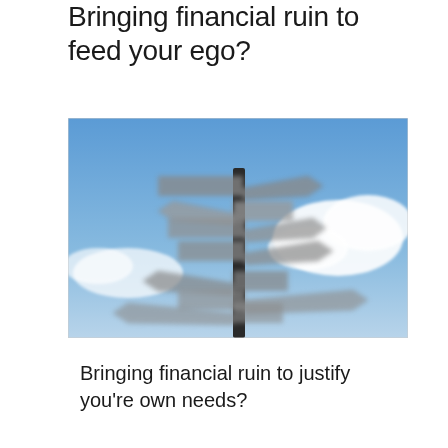Bringing financial ruin to feed your ego?
[Figure (photo): A street signpost with multiple directional arrow signs pointing in different directions, photographed against a blue sky with white clouds. The signs are blurred/illegible, suggesting confusion or multiple choices.]
Bringing financial ruin to justify you're own needs?